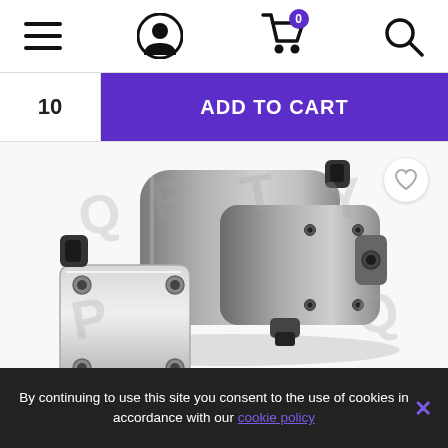[Figure (screenshot): Website navigation bar with hamburger menu, user account icon, shopping cart with 0 badge, and search icon]
10
ADD TO CART
[Figure (photo): Metal hydraulic pump component with square mounting flange and cylindrical body, watermarked with Q, P, T, Y letters]
By continuing to use this site you consent to the use of cookies in accordance with our cookie policy